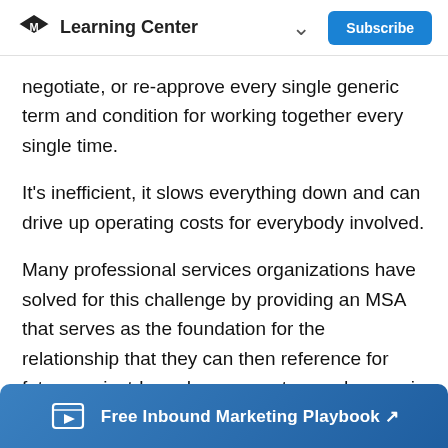Learning Center  Subscribe
negotiate, or re-approve every single generic term and condition for working together every single time.
It's inefficient, it slows everything down and can drive up operating costs for everybody involved.
Many professional services organizations have solved for this challenge by providing an MSA that serves as the foundation for the relationship that they can then reference for future project-based agreements you draw up in order to keep the project agreements as focused and streamlined
Free Inbound Marketing Playbook ↗